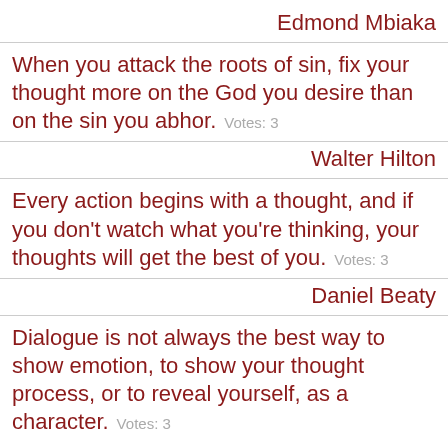Edmond Mbiaka
When you attack the roots of sin, fix your thought more on the God you desire than on the sin you abhor. Votes: 3
Walter Hilton
Every action begins with a thought, and if you don't watch what you're thinking, your thoughts will get the best of you. Votes: 3
Daniel Beaty
Dialogue is not always the best way to show emotion, to show your thought process, or to reveal yourself, as a character. Votes: 3
Mike Colter